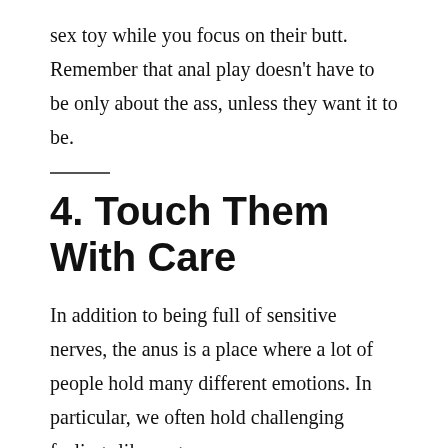sex toy while you focus on their butt. Remember that anal play doesn't have to be only about the ass, unless they want it to be.
4. Touch Them With Care
In addition to being full of sensitive nerves, the anus is a place where a lot of people hold many different emotions. In particular, we often hold challenging feelings like anger,